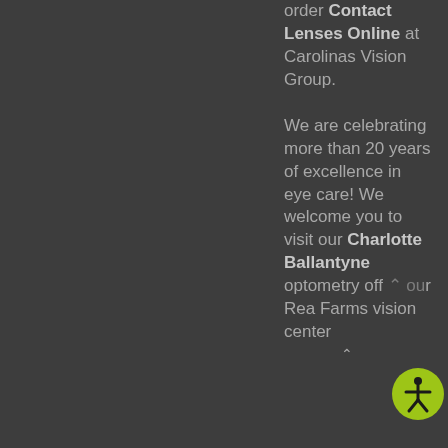order Contact Lenses Online at Carolinas Vision Group.

We are celebrating more than 20 years of excellence in eye care! We welcome you to visit our Charlotte Ballantyne optometry off... our Rea Farms vision center
[Figure (illustration): Green circular accessibility icon with a human figure in the center, indicating website accessibility features]